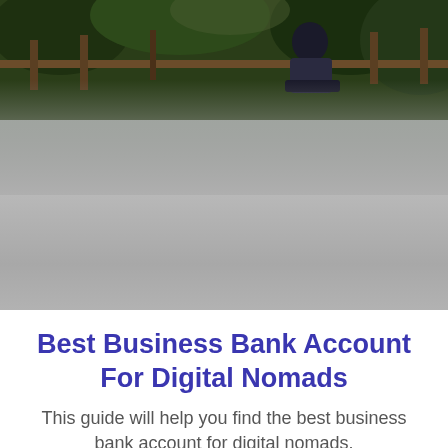[Figure (photo): Outdoor photo of a person sitting on a porch or deck with tropical/jungle greenery in the background. Upper portion shows the scene, lower portion fades into a gray area.]
Best Business Bank Account For Digital Nomads
This guide will help you find the best business bank account for digital nomads.